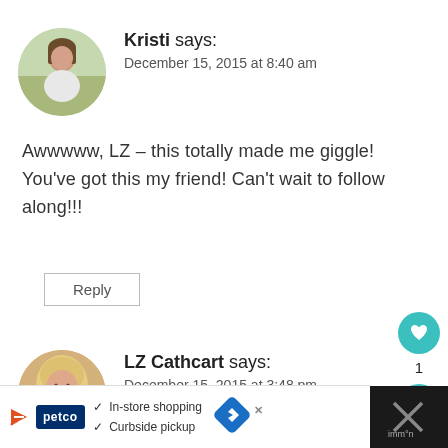[Figure (photo): Circular avatar photo of Kristi, a woman standing outdoors in a field]
Kristi says:
December 15, 2015 at 8:40 am
Awwwww, LZ – this totally made me giggle! You've got this my friend! Can't wait to follow along!!!
Reply
[Figure (photo): Circular avatar photo of LZ Cathcart, a woman with blonde hair]
LZ Cathcart says:
December 15, 2015 at 3:48 pm
[Figure (other): Advertisement bar: Petco logo, In-store shopping, Curbside pickup, navigation arrow icon]
[Figure (other): Dark panel with X close button and share/like icons on right sidebar]